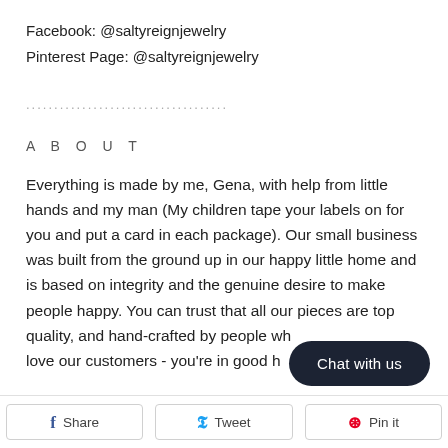Facebook: @saltyreignjewelry
Pinterest Page: @saltyreignjewelry
....................................
ABOUT
Everything is made by me, Gena, with help from little hands and my man (My children tape your labels on for you and put a card in each package). Our small business was built from the ground up in our happy little home and is based on integrity and the genuine desire to make people happy. You can trust that all our pieces are top quality, and hand-crafted by people who really care. We love our customers - you're in good hands.